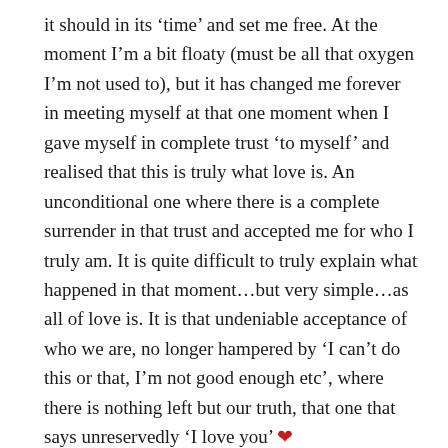it should in its ‘time’ and set me free. At the moment I’m a bit floaty (must be all that oxygen I’m not used to), but it has changed me forever in meeting myself at that one moment when I gave myself in complete trust ‘to myself’ and realised that this is truly what love is. An unconditional one where there is a complete surrender in that trust and accepted me for who I truly am. It is quite difficult to truly explain what happened in that moment…but very simple…as all of love is. It is that undeniable acceptance of who we are, no longer hampered by ‘I can’t do this or that, I’m not good enough etc’, where there is nothing left but our truth, that one that says unreservedly ‘I love you’ ❤
Do I have emphysema still? Who knows! My breathing